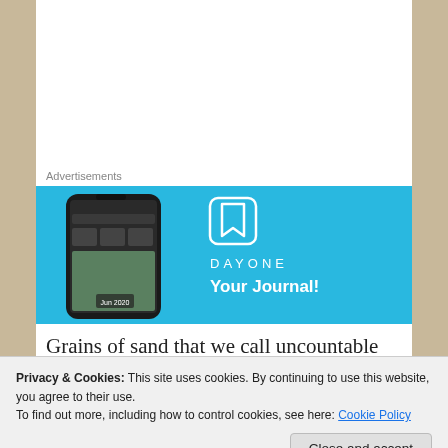Advertisements
[Figure (illustration): DayOne journal app advertisement on a light blue background. Shows a smartphone with the DayOne app interface on the left, and on the right the DayOne logo (bookmark icon), 'DAYONE' text in spaced letters, and 'Your Journal!' tagline in white text.]
Grains of sand that we call uncountable actually count to that ant who carries one grain at a time to her destination. If ants had languages, it
Privacy & Cookies: This site uses cookies. By continuing to use this website, you agree to their use.
To find out more, including how to control cookies, see here: Cookie Policy
Close and accept
our limits as 'countable'. This term, however,